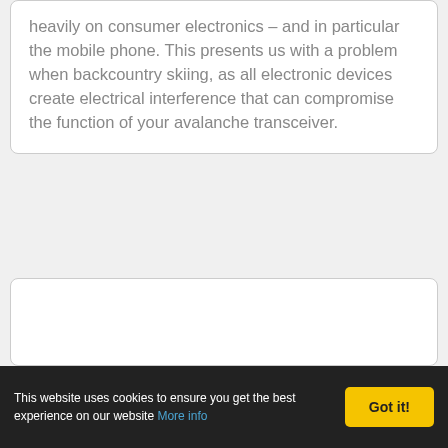heavily on consumer electronics – and in particular the mobile phone. This presents us with a problem when backcountry skiing, as all electronic devices create electrical interference that can compromise the function of your avalanche transceiver.
[Figure (other): Empty white box with rounded corners, likely placeholder for an image or video]
This website uses cookies to ensure you get the best experience on our website More info